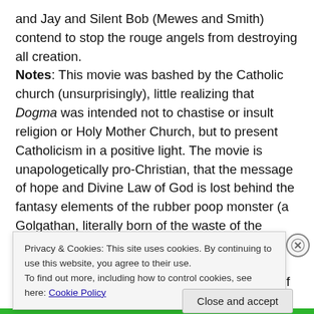and Jay and Silent Bob (Mewes and Smith) contend to stop the rouge angels from destroying all creation. Notes: This movie was bashed by the Catholic church (unsurprisingly), little realizing that Dogma was intended not to chastise or insult religion or Holy Mother Church, but to present Catholicism in a positive light. The movie is unapologetically pro-Christian, that the message of hope and Divine Law of God is lost behind the fantasy elements of the rubber poop monster (a Golgathan, literally born of the waste of the crucified of Golgotha.)
My Rating: Dogma is an excellent film, which, if taken at
Privacy & Cookies: This site uses cookies. By continuing to use this website, you agree to their use.
To find out more, including how to control cookies, see here: Cookie Policy